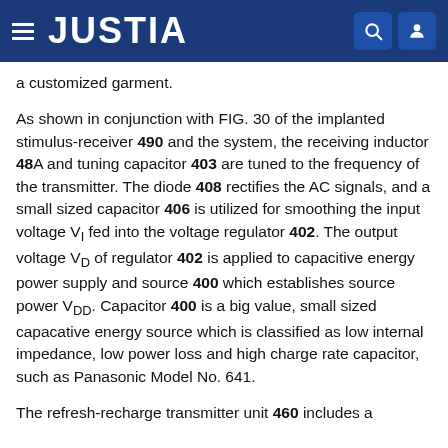JUSTIA
a customized garment.
As shown in conjunction with FIG. 30 of the implanted stimulus-receiver 490 and the system, the receiving inductor 48A and tuning capacitor 403 are tuned to the frequency of the transmitter. The diode 408 rectifies the AC signals, and a small sized capacitor 406 is utilized for smoothing the input voltage V_I fed into the voltage regulator 402. The output voltage V_D of regulator 402 is applied to capacitive energy power supply and source 400 which establishes source power V_DD. Capacitor 400 is a big value, small sized capacative energy source which is classified as low internal impedance, low power loss and high charge rate capacitor, such as Panasonic Model No. 641.
The refresh-recharge transmitter unit 460 includes a